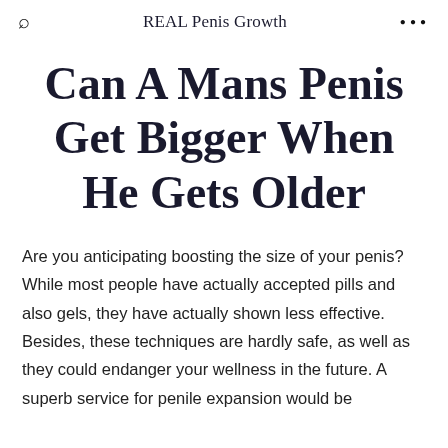REAL Penis Growth
Can A Mans Penis Get Bigger When He Gets Older
Are you anticipating boosting the size of your penis? While most people have actually accepted pills and also gels, they have actually shown less effective. Besides, these techniques are hardly safe, as well as they could endanger your wellness in the future. A superb service for penile expansion would be